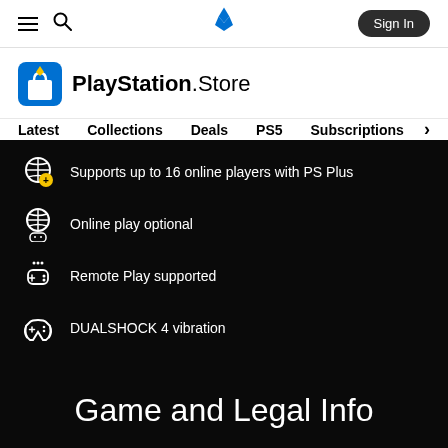PlayStation Store navigation bar with hamburger menu, search icon, PlayStation logo, and Sign In button
[Figure (logo): PlayStation Store logo with shopping bag icon and text 'PlayStation.Store']
Latest  Collections  Deals  PS5  Subscriptions >
Supports up to 16 online players with PS Plus
Online play optional
Remote Play supported
DUALSHOCK 4 vibration
Game and Legal Info